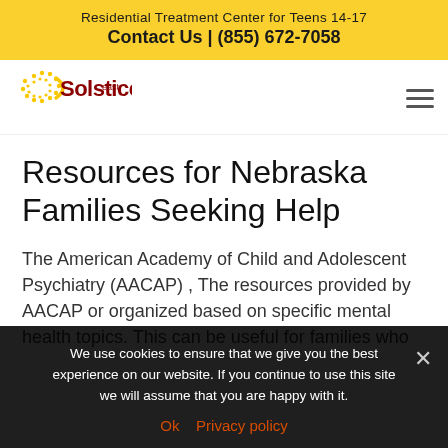Residential Treatment Center for Teens 14-17
Contact Us | (855) 672-7058
[Figure (logo): Solstice East logo with sun icon and text 'Solstice east']
Resources for Nebraska Families Seeking Help
The American Academy of Child and Adolescent Psychiatry (AACAP) , The resources provided by AACAP or organized based on specific mental health topics. This can be useful for families who
We use cookies to ensure that we give you the best experience on our website. If you continue to use this site we will assume that you are happy with it.
Ok   Privacy policy